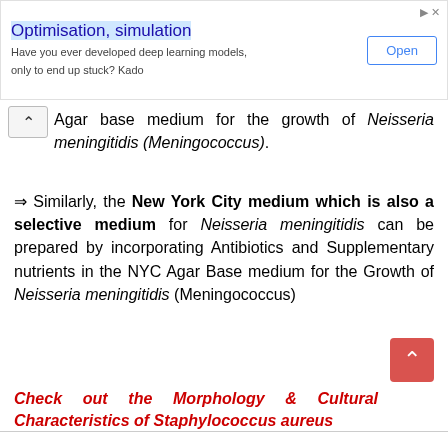[Figure (other): Advertisement banner for 'Optimisation, simulation' with Open button]
Agar base medium for the growth of Neisseria meningitidis (Meningococcus).
Similarly, the New York City medium which is also a selective medium for Neisseria meningitidis can be prepared by incorporating Antibiotics and Supplementary nutrients in the NYC Agar Base medium for the Growth of Neisseria meningitidis (Meningococcus)
Check out the Morphology & Cultural Characteristics of Staphylococcus aureus